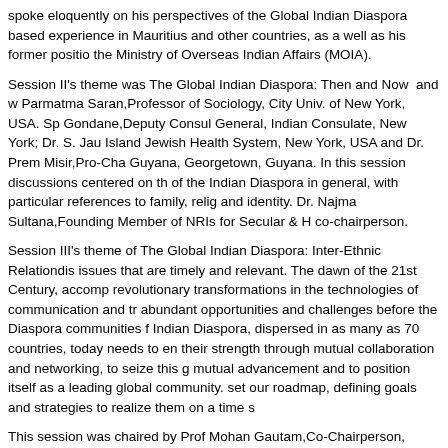spoke eloquently on his perspectives of the Global Indian Diaspora based experience in Mauritius and other countries, as a well as his former positio the Ministry of Overseas Indian Affairs (MOIA).
Session II's theme was The Global Indian Diaspora: Then and Now and w Parmatma Saran,Professor of Sociology, City Univ. of New York, USA. Sp Gondane,Deputy Consul General, Indian Consulate, New York; Dr. S. Jau Island Jewish Health System, New York, USA and Dr. Prem Misir,Pro-Cha Guyana, Georgetown, Guyana. In this session discussions centered on th of the Indian Diaspora in general, with particular references to family, relig and identity. Dr. Najma Sultana,Founding Member of NRIs for Secular & H co-chairperson.
Session III's theme of The Global Indian Diaspora: Inter-Ethnic Relationdis issues that are timely and relevant. The dawn of the 21st Century, accomp revolutionary transformations in the technologies of communication and tr abundant opportunities and challenges before the Diaspora communities f Indian Diaspora, dispersed in as many as 70 countries, today needs to en their strength through mutual collaboration and networking, to seize this g mutual advancement and to position itself as a leading global community. set our roadmap, defining goals and strategies to realize them on a time s
This session was chaired by Prof Mohan Gautam,Co-Chairperson, GOPIO former Professor of Diaspora Studies at Leiden University, The Netherland Co-Chairperson Jasbir Sachar,Founder & Publisher, Asia Who's Who, Lor include: Prof Mahin Gosine, professorof Sociology, Suffolk Community Co Ms. Marina Budhos, Author, Educator, New Jersey, USA; and Amarinder B Country Coordinator, Australia. Delivering the concluding remarks was Dr. GOPIO of Central New Jersey, USA)